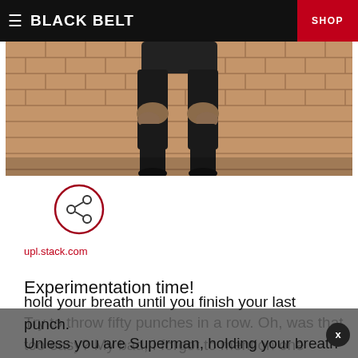BLACK BELT | SHOP
[Figure (photo): Lower half of a person in dark martial arts clothing, bending knees against a brick wall background]
[Figure (infographic): Share icon inside a red outlined circle]
upl.stack.com
Experimentation time!
Try to throw fifty punches in a row. Oh, was that too easy? My bad, I forgot to mention one thing: hold your breath until you finish your last punch. Unless you are Superman, holding your breath